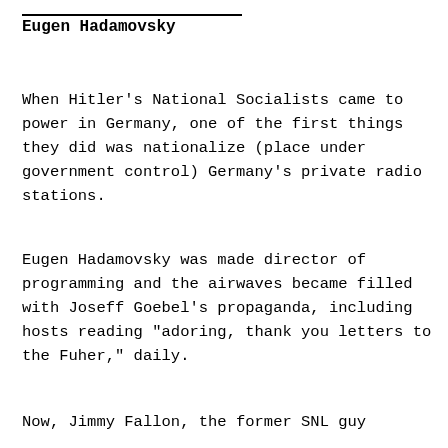Eugen Hadamovsky
When Hitler's National Socialists came to power in Germany, one of the first things they did was nationalize (place under government control) Germany's private radio stations.
Eugen Hadamovsky was made director of programming and the airwaves became filled with Joseff Goebel's propaganda, including hosts reading "adoring, thank you letters to the Fuher," daily.
Now, Jimmy Fallon, the former SNL guy